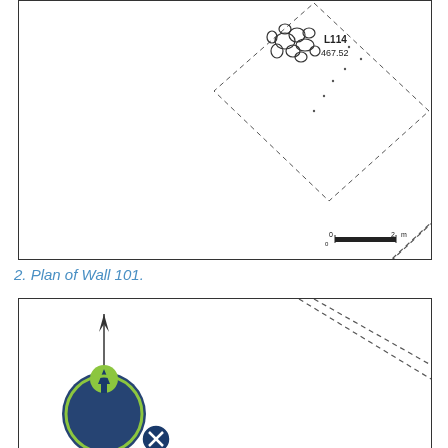[Figure (schematic): Archaeological site plan showing dashed boundary lines forming a triangular/diamond shape, scattered stone features labeled L114 with elevation 467.52, and two parallel dashed lines running diagonally from upper-right to lower-left. Scale bar 0-2m shown at bottom right.]
2. Plan of Wall 101.
[Figure (schematic): Archaeological plan showing two parallel dashed/dotted lines running diagonally from upper-right to lower-left area. North arrow indicator on left side. Partially obscured by a website logo/watermark overlay.]